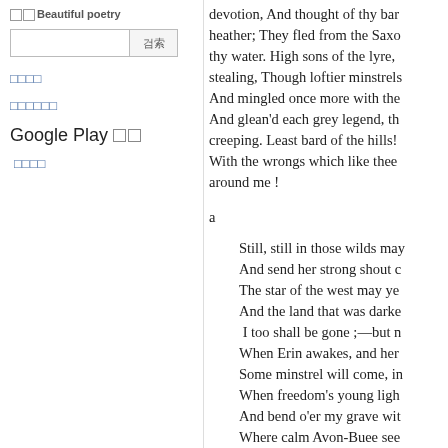□□Beautiful poetry
devotion, And thought of thy bar heather; They fled from the Saxo thy water. High sons of the lyre, stealing, Though loftier minstrels And mingled once more with the And glean'd each grey legend, th creeping. Least bard of the hills! With the wrongs which like thee around me !
a
Still, still in those wilds may And send her strong shout c The star of the west may ye And the land that was darke I too shall be gone ;—but n When Erin awakes, and her Some minstrel will come, in When freedom's young ligh And bend o'er my grave wit Where calm Avon-Buee see Or plant a wild wreath, from O'er the heart, and the har
□□□□
□□□□□□
Google Play □□
□□□□